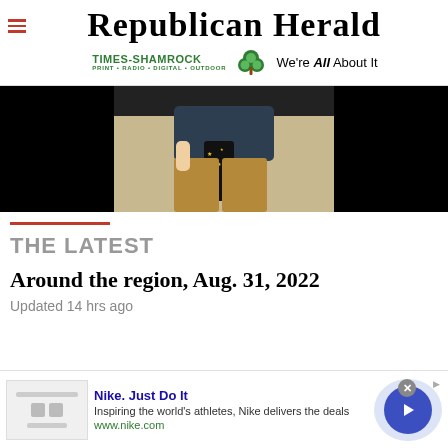[Figure (logo): Republican Herald masthead with Times-Shamrock branding, shamrock logo, and 'We're All About It' tagline]
[Figure (photo): Photo of a person's midsection wearing a navy blue shirt, star-patterned pants/scarf, and tan pants, against a dark background]
THE LATEST
Around the region, Aug. 31, 2022
Updated 14 hrs ago
[Figure (other): Nike advertisement banner: 'Nike. Just Do It' — Inspiring the world's athletes, Nike delivers the deals — www.nike.com — with thumbnail image and arrow button]